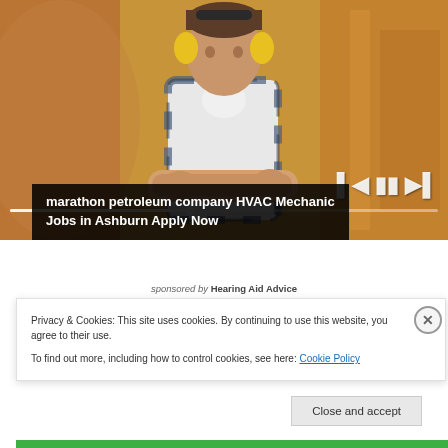[Figure (photo): A man in a plaid shirt with yellow ear protection/headphones around his neck, arms crossed, standing in front of industrial equipment. Media player controls and progress bar overlaid at bottom right.]
marathon petroleum company HVAC Mechanic Jobs in Ashburn Apply Now
sponsored by Hearing Aid Advice
Privacy & Cookies: This site uses cookies. By continuing to use this website, you agree to their use.
To find out more, including how to control cookies, see here: Cookie Policy
Close and accept